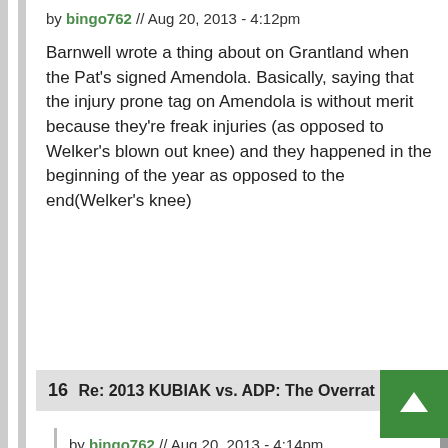by bingo762 // Aug 20, 2013 - 4:12pm
Barnwell wrote a thing about on Grantland when the Pat's signed Amendola. Basically, saying that the injury prone tag on Amendola is without merit because they're freak injuries (as opposed to Welker's blown out knee) and they happened in the beginning of the year as opposed to the end(Welker's knee)
16  Re: 2013 KUBIAK vs. ADP: The Overrat…
by bingo762 // Aug 20, 2013 - 4:14pm
Here: